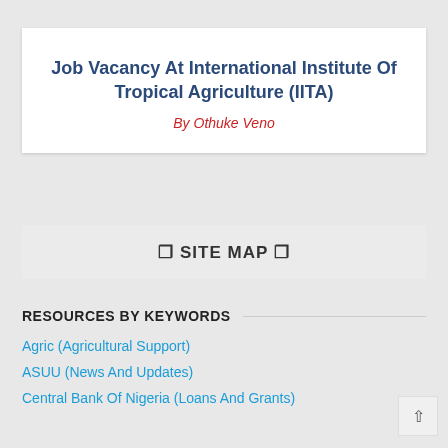Job Vacancy At International Institute Of Tropical Agriculture (IITA)
By Othuke Veno
❐ SITE MAP ❐
RESOURCES BY KEYWORDS
Agric (Agricultural Support)
ASUU (News And Updates)
Central Bank Of Nigeria (Loans And Grants)